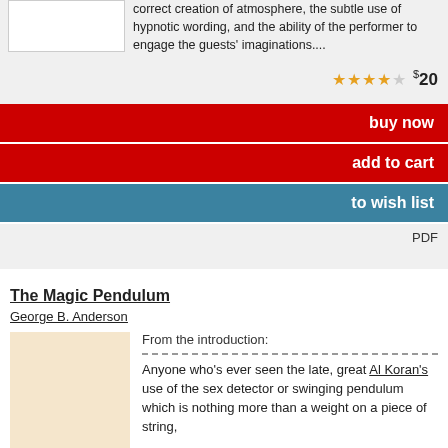correct creation of atmosphere, the subtle use of hypnotic wording, and the ability of the performer to engage the guests' imaginations....
★★★★☆  $20
buy now
add to cart
to wish list
PDF
The Magic Pendulum
George B. Anderson
[Figure (illustration): Book cover thumbnail with warm beige/tan background]
From the introduction:
Anyone who's ever seen the late, great Al Koran's use of the sex detector or swinging pendulum which is nothing more than a weight on a piece of string,